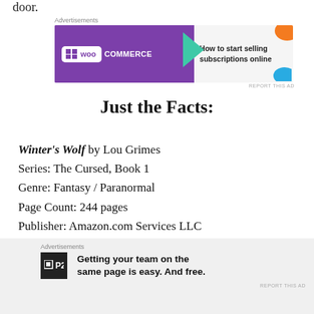door.
[Figure (other): WooCommerce advertisement banner: 'How to start selling subscriptions online']
Just the Facts:
Winter's Wolf by Lou Grimes
Series: The Cursed, Book 1
Genre: Fantasy / Paranormal
Page Count: 244 pages
Publisher: Amazon.com Services LLC
Pub Date: April 11, 2020
[Figure (other): P2 advertisement: 'Getting your team on the same page is easy. And free.']